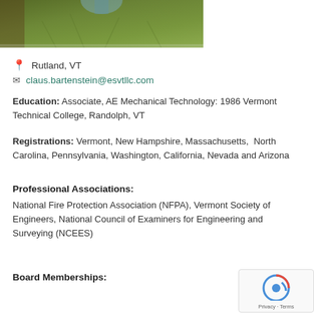[Figure (photo): Partial photo of a person wearing a green fleece pullover, cropped to show torso/lower face area]
Rutland, VT
claus.bartenstein@esvtllc.com
Education: Associate, AE Mechanical Technology: 1986 Vermont Technical College, Randolph, VT
Registrations: Vermont, New Hampshire, Massachusetts, North Carolina, Pennsylvania, Washington, California, Nevada and Arizona
Professional Associations:
National Fire Protection Association (NFPA), Vermont Society of Engineers, National Council of Examiners for Engineering and Surveying (NCEES)
Board Memberships: